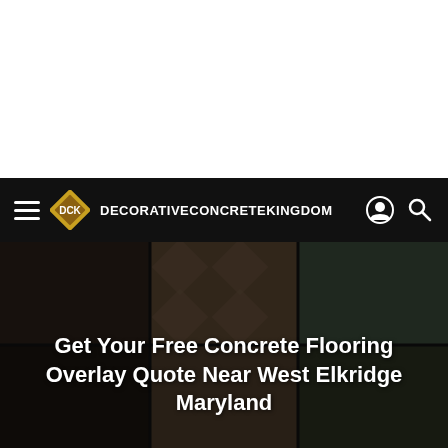DecorativeConcreteKingdom
[Figure (photo): Hero image showing decorative concrete flooring examples including patterned and stained concrete surfaces, with a dark overlay. Contains the heading text overlaid on the image.]
Get Your Free Concrete Flooring Overlay Quote Near West Elkridge Maryland